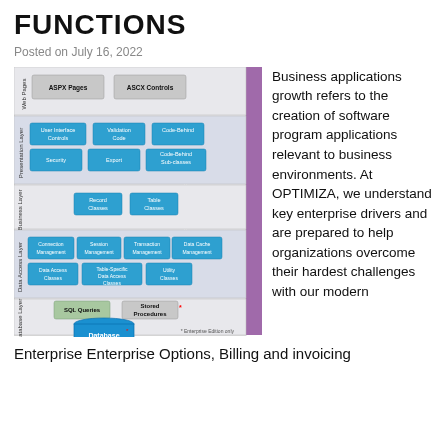FUNCTIONS
Posted on July 16, 2022
[Figure (engineering-diagram): Microsoft .NET Framework layered architecture diagram showing Web Pages layer (ASPX Pages, ASCX Controls), Presentation Layer (User Interface Controls, Validation Code, Code-Behind, Security, Export, Code-Behind Sub-classes), Business Layer (Record Classes, Table Classes), Data Access Layer (Connection Management, Session Management, Transaction Management, Data Cache Management, Data Access Classes, Table-Specific Data Access Classes, Utility Classes), and Database Layer (SQL Queries, Stored Procedures, Database cylinder). A vertical purple bar on the right is labeled Microsoft .NET Framework.]
Business applications growth refers to the creation of software program applications relevant to business environments. At OPTIMIZA, we understand key enterprise drivers and are prepared to help organizations overcome their hardest challenges with our modern Enterprise Enterprise Options, Billing and invoicing